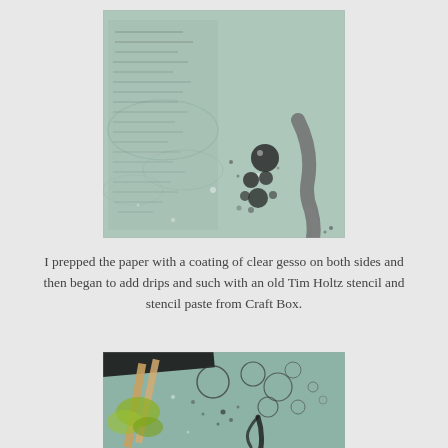[Figure (photo): Close-up photo of textured paper surface with teal/green tones, bubble-like circular marks, drips, and layered collage text underneath, with a gray brushstroke element on the right side.]
I prepped the paper with a coating of clear gesso on both sides and then began to add drips and such with an old Tim Holtz stencil and stencil paste from Craft Box.
[Figure (photo): Close-up photo of a craft project showing teal/green textured paper with bubble and drip stencil marks, a wooden stick element, yellow-green foliage, and a dark diagonal element at the top.]